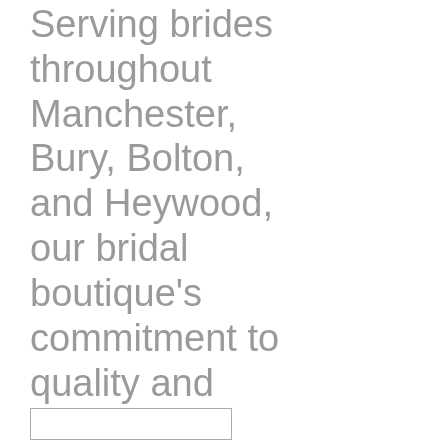Serving brides throughout Manchester, Bury, Bolton, and Heywood, our bridal boutique's commitment to quality and customer service guarantee more than just your perfect wedding dress.